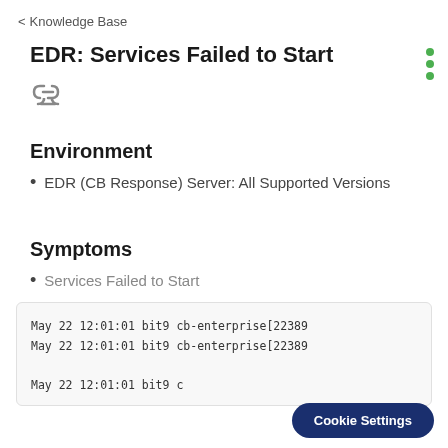< Knowledge Base
EDR: Services Failed to Start
Environment
EDR (CB Response) Server: All Supported Versions
Symptoms
Services Failed to Start
May 22 12:01:01 bit9 cb-enterprise[22389
May 22 12:01:01 bit9 cb-enterprise[22389

May 22 12:01:01 bit9 c